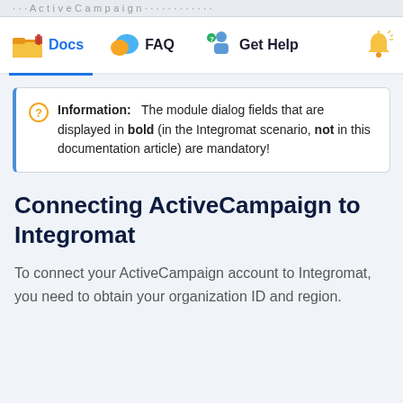ActiveCampaign documentation header (partial, cropped)
[Figure (screenshot): Navigation bar with Docs, FAQ, Get Help icons and a partial bell icon]
Information: The module dialog fields that are displayed in bold (in the Integromat scenario, not in this documentation article) are mandatory!
Connecting ActiveCampaign to Integromat
To connect your ActiveCampaign account to Integromat, you need to obtain your organization ID and region.